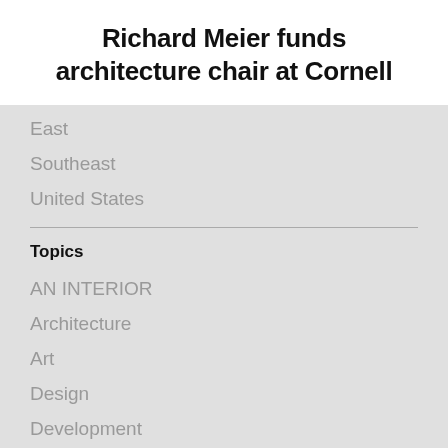Richard Meier funds architecture chair at Cornell
East
Southeast
United States
Topics
AN INTERIOR
Architecture
Art
Design
Development
Preservation